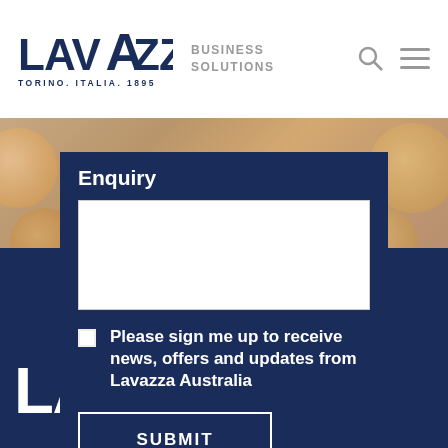Lavazza Business Solutions — TORINO. ITALIA. 1895
Enquiry
Please sign me up to receive news, offers and updates from Lavazza Australia
SUBMIT
[Figure (logo): Lavazza logo (footer, white on dark navy)]